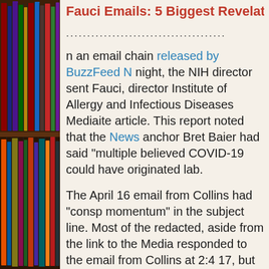[Figure (photo): Photograph of a bookshelf filled with colorful books, occupying the left side of the page]
Fauci Emails: 5 Biggest Revelations (new
......................................
n an email chain released by BuzzFeed N night, the NIH director sent Fauci, director Institute of Allergy and Infectious Diseases Mediaite article. This report noted that the News anchor Bret Baier had said "multiple believed COVID-19 could have originated lab.
The April 16 email from Collins had "consp momentum" in the subject line. Most of the redacted, aside from the link to the Media responded to the email from Collins at 2:4 17, but his response was also redacted.